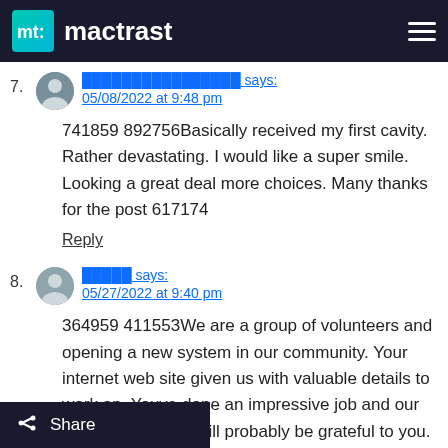mactrast
7. [username] says:
05/08/2022 at 9:48 pm
741859 892756Basically received my first cavity. Rather devastating. I would like a super smile. Looking a great deal more choices. Many thanks for the post 617174
Reply
8. [username] says:
05/27/2022 at 9:40 pm
364959 411553We are a group of volunteers and opening a new system in our community. Your internet web site given us with valuable details to work on. Youve done an impressive job and our entire community will probably be grateful to you.
Share